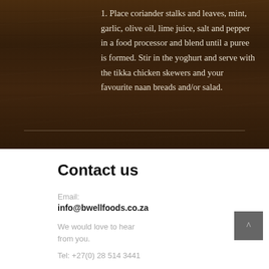1. Place coriander stalks and leaves, mint, garlic, olive oil, lime juice, salt and pepper in a food processor and blend until a puree is formed. Stir in the yoghurt and serve with the tikka chicken skewers and your favourite naan breads and/or salad.
Contact us
Email:
info@bwellfoods.co.za
We would love to hear from you.
Tel: +27(0) 28 514 3441